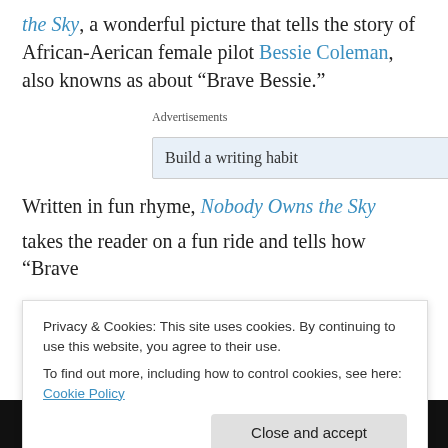the Sky, a wonderful picture that tells the story of African-Aerican female pilot Bessie Coleman, also knowns as about “Brave Bessie.”
[Figure (screenshot): Advertisement banner showing 'Build a writing habit' text with blue button icon]
Written in fun rhyme, Nobody Owns the Sky
takes the reader on a fun ride and tells how “Brave
Privacy & Cookies: This site uses cookies. By continuing to use this website, you agree to their use.
To find out more, including how to control cookies, see here: Cookie Policy
Close and accept
[Figure (photo): Bottom strip showing FRANCE text in white bold on dark background with a portrait image on the right]